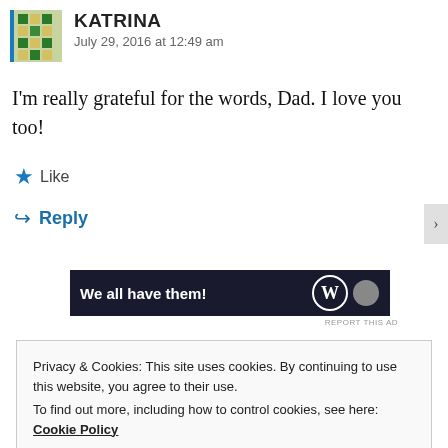[Figure (other): User avatar - quilt pattern squares in green and blue with a blue left border]
KATRINA
July 29, 2016 at 12:49 am
I'm really grateful for the words, Dad. I love you too!
★ Like
↩ Reply
[Figure (other): Dark banner advertisement with text 'We all have them!' and WordPress logo]
REPORT THIS AD
Privacy & Cookies: This site uses cookies. By continuing to use this website, you agree to their use.
To find out more, including how to control cookies, see here: Cookie Policy
Close and accept